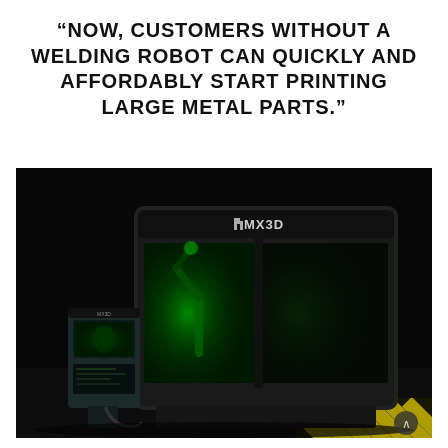“NOW, CUSTOMERS WITHOUT A WELDING ROBOT CAN QUICKLY AND AFFORDABLY START PRINTING LARGE METAL PARTS.”
[Figure (photo): Dark industrial photograph of an MX3D large-format metal 3D printer machine in a dark room. The printer is a large black enclosure with green illumination visible through the glass windows, showing a robotic welding arm inside. A control console with screens stands to the left of the machine. Yellow warning stripes are visible on the floor in the bottom right corner. The MX3D logo is visible on the front of the machine.]